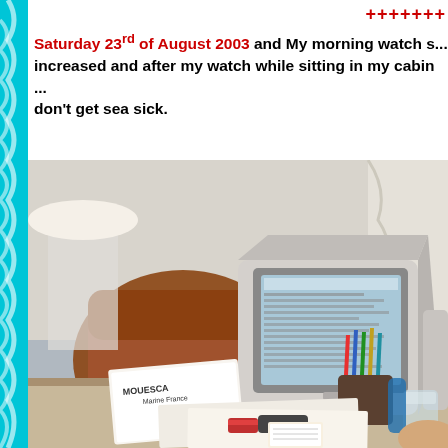+++++++
Saturday 23rd of August 2003 and My morning watch s... increased and after my watch while sitting in my cabin ... don't get sea sick.
[Figure (photo): Photo of a desk with a CRT monitor displaying a webpage, surrounded by pens, papers, and a card reading MOUESCA Marine France. A leather armchair and lamp visible in background.]